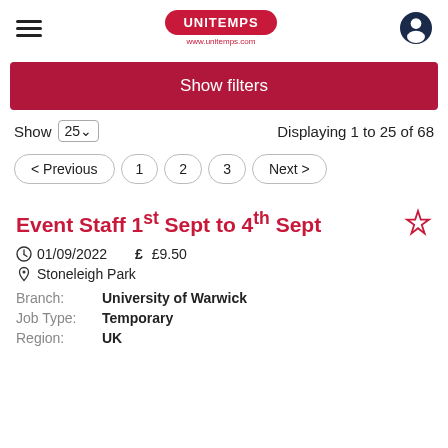[Figure (logo): Unitemps logo - red oval with white text UNITEMPS, www.unitemps.com below]
Show filters
Show 25  Displaying 1 to 25 of 68
< Previous  1  2  3  Next >
Event Staff 1st Sept to 4th Sept
01/09/2022  £9.50
Stoneleigh Park
Branch:  University of Warwick
Job Type:  Temporary
Region:  UK